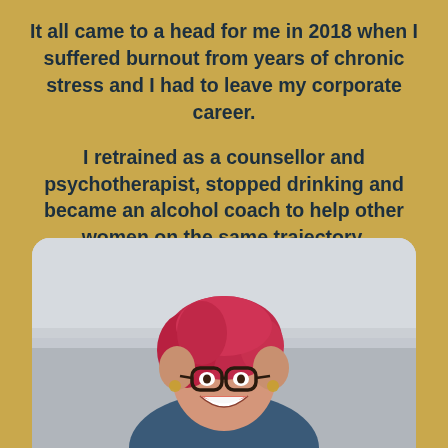It all came to a head for me in 2018 when I suffered burnout from years of chronic stress and I had to leave my corporate career.

I retrained as a counsellor and psychotherapist, stopped drinking and became an alcohol coach to help other women on the same trajectory.
[Figure (photo): A smiling woman with short pink/red hair and large round glasses, laughing outdoors against a blurred grey sky background, wearing a blue top.]